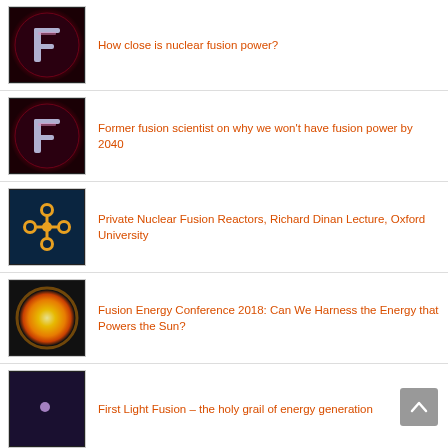How close is nuclear fusion power?
Former fusion scientist on why we won't have fusion power by 2040
Private Nuclear Fusion Reactors, Richard Dinan Lecture, Oxford University
Fusion Energy Conference 2018: Can We Harness the Energy that Powers the Sun?
First Light Fusion – the holy grail of energy generation